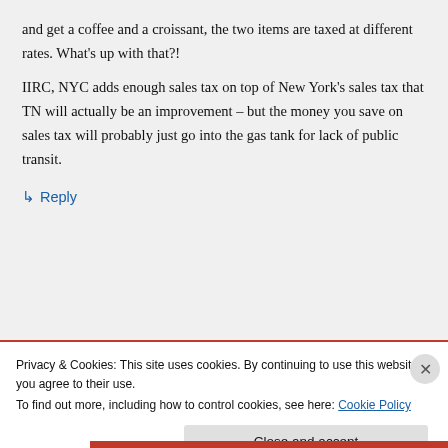and get a coffee and a croissant, the two items are taxed at different rates. What's up with that?! IIRC, NYC adds enough sales tax on top of New York's sales tax that TN will actually be an improvement – but the money you save on sales tax will probably just go into the gas tank for lack of public transit.
↳ Reply
Privacy & Cookies: This site uses cookies. By continuing to use this website, you agree to their use. To find out more, including how to control cookies, see here: Cookie Policy
Close and accept